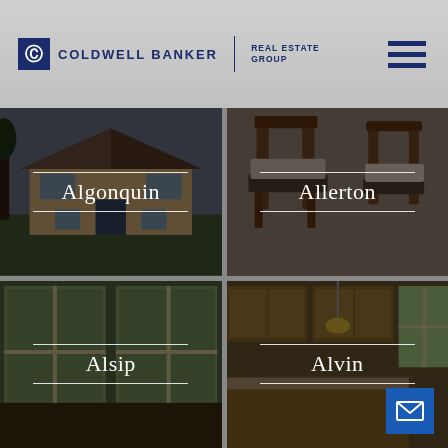[Figure (logo): Coldwell Banker Real Estate Group logo with hamburger menu icon]
[Figure (photo): Algonquin property listing - house exterior photo with dark overlay and white text label]
[Figure (photo): Allerton property listing - interior furniture photo with dark overlay and white text label]
[Figure (photo): Alsip property listing - window/glass door interior photo with dark overlay and white text label]
[Figure (photo): Alvin property listing - kitchen interior photo with dark overlay, white text label, and email icon button]